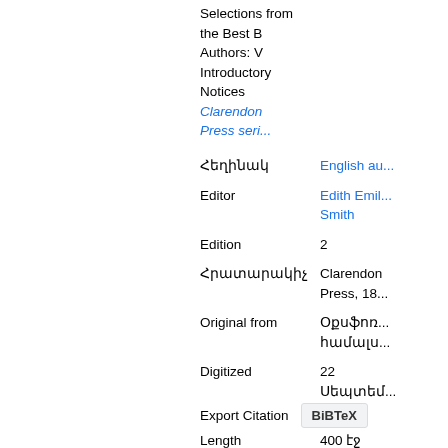Selections from the Best B Authors: V Introductory Notices
Clarendon Press series (link)
| Label | Value |
| --- | --- |
| Հեղինակ | English au... |
| Editor | Edith Emil... Smith |
| Edition | 2 |
| Հրատարակիչ | Clarendon Press, 18... |
| Original from | Օքսֆոռդի համալս... |
| Digitized | 22 Սեպտեմ... 2006 |
| Length | 400 էջ |
Export Citation
BiBTeX